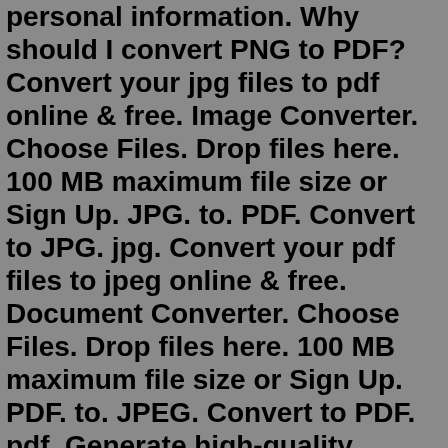personal information. Why should I convert PNG to PDF?Convert your jpg files to pdf online & free. Image Converter. Choose Files. Drop files here. 100 MB maximum file size or Sign Up. JPG. to. PDF. Convert to JPG. jpg. Convert your pdf files to jpeg online & free. Document Converter. Choose Files. Drop files here. 100 MB maximum file size or Sign Up. PDF. to. JPEG. Convert to PDF. pdf. Generate high-quality images from PDF documents. Choose the desired size while you convert PDF to JPG or PNG. Add the PDF files to the PDF to Image converter. Configure the dimensions and type for the generated Images. Click 'Start Convert' to transform your PDF to Images. The image files are ready for Download.Convert PDFs with ease Use Acrobat online services to convert PDFs to Microsoft Word, Excel, or PowerPoint. You can convert to JPG, PNG, or TIFF too. Go beyond PDF conversion Do you need more than PDF to JPG conversion? Subscribe to Adobe Acrobat to merge PDFs, organize pages, and convert other files. Get top-tier tools with AdobeWe